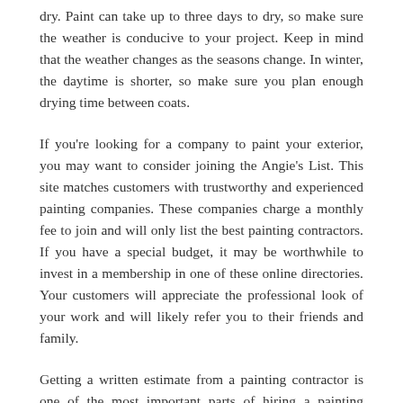dry. Paint can take up to three days to dry, so make sure the weather is conducive to your project. Keep in mind that the weather changes as the seasons change. In winter, the daytime is shorter, so make sure you plan enough drying time between coats.
If you're looking for a company to paint your exterior, you may want to consider joining the Angie's List. This site matches customers with trustworthy and experienced painting companies. These companies charge a monthly fee to join and will only list the best painting contractors. If you have a special budget, it may be worthwhile to invest in a membership in one of these online directories. Your customers will appreciate the professional look of your work and will likely refer you to their friends and family.
Getting a written estimate from a painting contractor is one of the most important parts of hiring a painting contractor. A good one will contain a detailed explanation of the entire project. The cost should be clear and include all expenses. You should also make